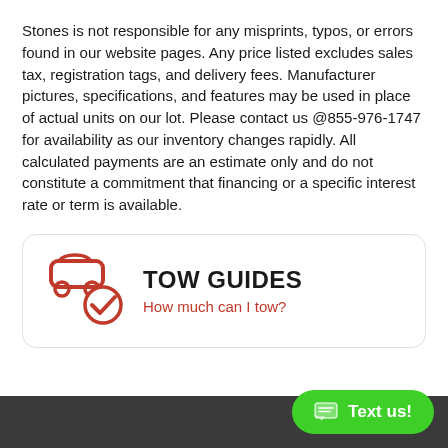Stones is not responsible for any misprints, typos, or errors found in our website pages. Any price listed excludes sales tax, registration tags, and delivery fees. Manufacturer pictures, specifications, and features may be used in place of actual units on our lot. Please contact us @855-976-1747 for availability as our inventory changes rapidly. All calculated payments are an estimate only and do not constitute a commitment that financing or a specific interest rate or term is available.
[Figure (infographic): Tow Guides box with red car+checkmark icon, bold title 'TOW GUIDES', and red subtitle 'How much can I tow?']
Text us!